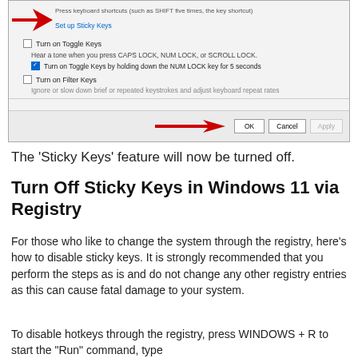[Figure (screenshot): Windows Ease of Access Keyboard settings dialog showing Toggle Keys and Filter Keys options with red arrows pointing to OK button]
The ‘Sticky Keys’ feature will now be turned off.
Turn Off Sticky Keys in Windows 11 via Registry
For those who like to change the system through the registry, here’s how to disable sticky keys. It is strongly recommended that you perform the steps as is and do not change any other registry entries as this can cause fatal damage to your system.
To disable hotkeys through the registry, press WINDOWS + R to start the “Run” command, type